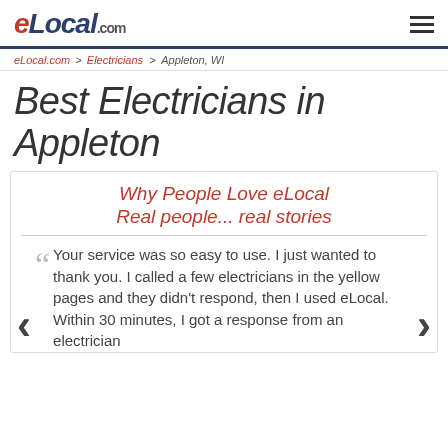eLocal.com
eLocal.com > Electricians > Appleton, WI
Best Electricians in Appleton
Why People Love eLocal Real people... real stories
Your service was so easy to use. I just wanted to thank you. I called a few electricians in the yellow pages and they didn't respond, then I used eLocal. Within 30 minutes, I got a response from an electrician